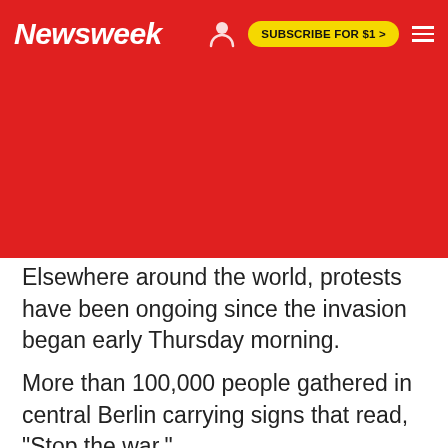Newsweek | SUBSCRIBE FOR $1 >
Elsewhere around the world, protests have been ongoing since the invasion began early Thursday morning.
More than 100,000 people gathered in central Berlin carrying signs that read, "Stop the war,"